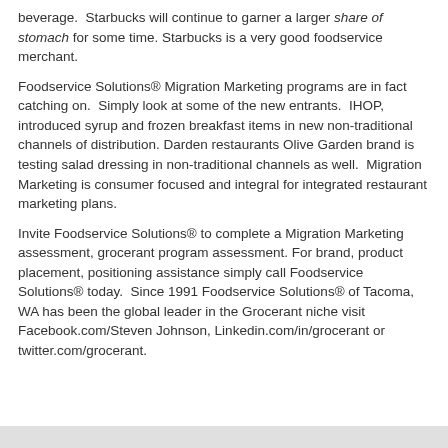beverage.  Starbucks will continue to garner a larger share of stomach for some time. Starbucks is a very good foodservice merchant.
Foodservice Solutions® Migration Marketing programs are in fact catching on.  Simply look at some of the new entrants.  IHOP, introduced syrup and frozen breakfast items in new non-traditional channels of distribution. Darden restaurants Olive Garden brand is testing salad dressing in non-traditional channels as well.  Migration Marketing is consumer focused and integral for integrated restaurant marketing plans.
Invite Foodservice Solutions® to complete a Migration Marketing assessment, grocerant program assessment. For brand, product placement, positioning assistance simply call Foodservice Solutions® today.  Since 1991 Foodservice Solutions® of Tacoma, WA has been the global leader in the Grocerant niche visit Facebook.com/Steven Johnson, Linkedin.com/in/grocerant or twitter.com/grocerant.